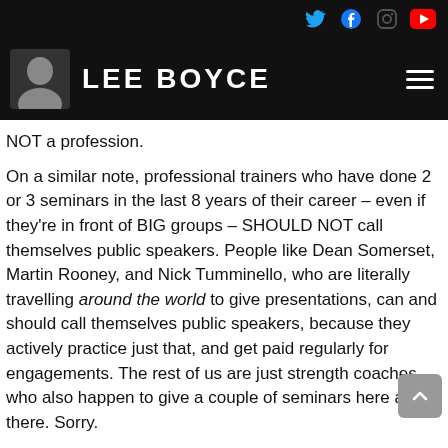LEE BOYCE — website header with social icons (Twitter, Facebook, Instagram, YouTube) and hamburger menu
NOT a profession.
On a similar note, professional trainers who have done 2 or 3 seminars in the last 8 years of their career – even if they're in front of BIG groups – SHOULD NOT call themselves public speakers. People like Dean Somerset, Martin Rooney, and Nick Tumminello, who are literally travelling around the world to give presentations, can and should call themselves public speakers, because they actively practice just that, and get paid regularly for engagements. The rest of us are just strength coaches… who also happen to give a couple of seminars here and there. Sorry.